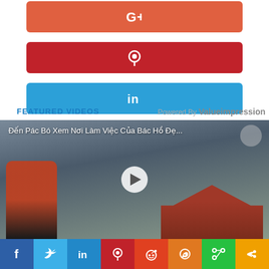[Figure (infographic): Google+ share button (orange-red rounded rectangle with G+ icon)]
[Figure (infographic): Pinterest share button (dark red rounded rectangle with Pinterest pin icon)]
[Figure (infographic): LinkedIn share button (blue rounded rectangle with 'in' icon)]
FEATURED VIDEOS
Powered By Valueimpression
[Figure (screenshot): Video thumbnail showing 'Đến Pác Bó Xem Nơi Làm Việc Của Bác Hồ Đẹ...' with play button, a person in orange jacket and a traditional Vietnamese building in background]
[Figure (infographic): Social share bottom bar with icons: Facebook (f), Twitter, LinkedIn (in), Pinterest, Reddit, WhatsApp, share icon]